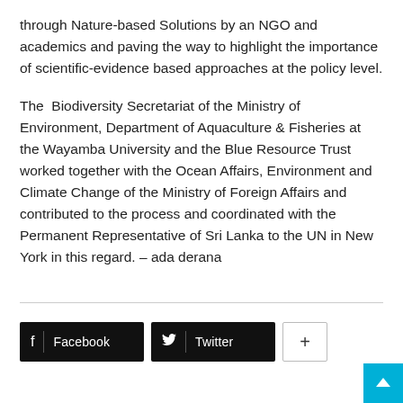through Nature-based Solutions by an NGO and academics and paving the way to highlight the importance of scientific-evidence based approaches at the policy level.
The Biodiversity Secretariat of the Ministry of Environment, Department of Aquaculture & Fisheries at the Wayamba University and the Blue Resource Trust worked together with the Ocean Affairs, Environment and Climate Change of the Ministry of Foreign Affairs and contributed to the process and coordinated with the Permanent Representative of Sri Lanka to the UN in New York in this regard. – ada derana